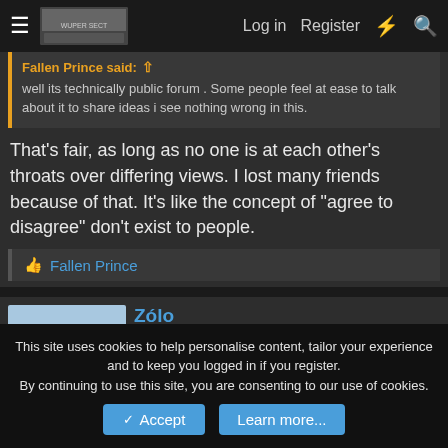Log in   Register
Fallen Prince said: ↑
well its technically public forum . Some people feel at ease to talk about it to share ideas i see nothing wrong in this.
That's fair, as long as no one is at each other's throats over differing views. I lost many friends because of that. It's like the concept of "agree to disagree" don't exist to people.
👍 Fallen Prince
Zólo
Turning water into beer
This site uses cookies to help personalise content, tailor your experience and to keep you logged in if you register.
By continuing to use this site, you are consenting to our use of cookies.